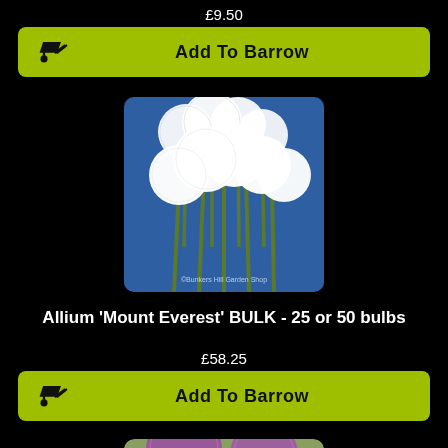£9.50
Add To Barrow
[Figure (photo): White allium flowers (round fluffy white globes on green stems) photographed against a blue background. Watermark reads ©Bunkers Hill Garden Shop.]
Allium 'Mount Everest' BULK - 25 or 50 bulbs
£58.25
Add To Barrow
[Figure (photo): Purple allium flowers partially visible at the bottom of the image, with a blurred background.]